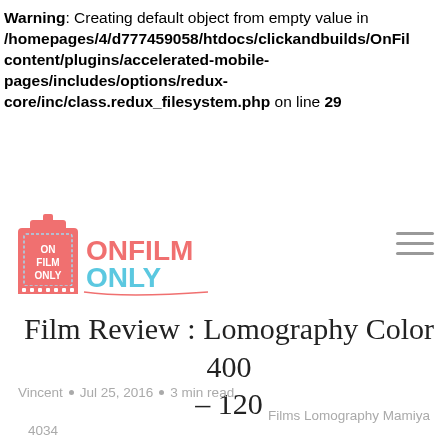Warning: Creating default object from empty value in /homepages/4/d777459058/htdocs/clickandbuilds/OnFil content/plugins/accelerated-mobile-pages/includes/options/redux-core/inc/class.redux_filesystem.php on line 29
[Figure (logo): OnFilmOnly logo - film canister with pink and blue text]
Film Review : Lomography Color 400 – 120
Vincent • Jul 25, 2016 • 3 min read
Films Lomography Mamiya
4034
Today we are looking at the 2nd roll shot on my Mamiya M645. Lomography Color 400